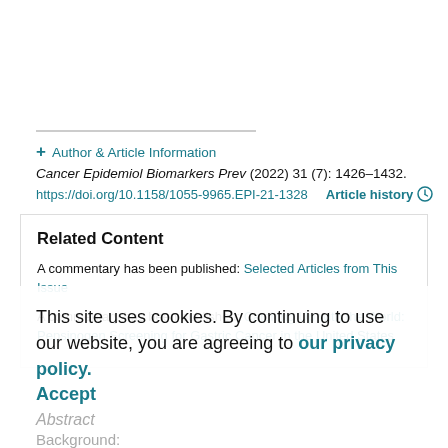+ Author & Article Information
Cancer Epidemiol Biomarkers Prev (2022) 31 (7): 1426–1432.
https://doi.org/10.1158/1055-9965.EPI-21-1328   Article history
Related Content
A commentary has been published: Selected Articles from This Issue
A commentary has been published: Catching Up with the World: Pepsinogen Screening for Gastric Cancer in the United States
This site uses cookies. By continuing to use our website, you are agreeing to our privacy policy. Accept
Abstract
Background: